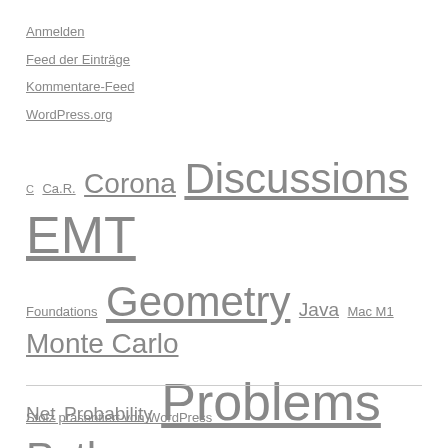Anmelden
Feed der Einträge
Kommentare-Feed
WordPress.org
C  Ca.R.  Corona  Discussions  EMT  Foundations  Geometry  Java  Mac M1  Monte Carlo  Net  Probability  Problems  Python  Sage
Stolz präsentiert von WordPress